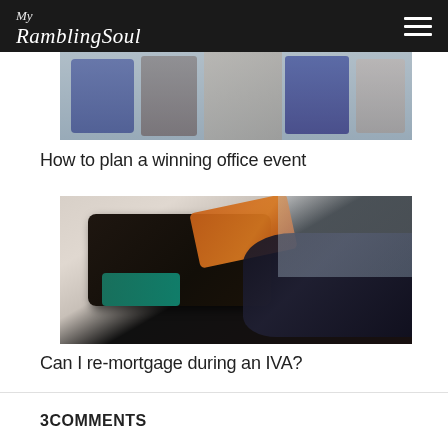My RamblingSoul
[Figure (photo): Photo of people at an office event/meeting, group of people seated and standing]
How to plan a winning office event
[Figure (photo): Photo of a person holding a black wallet/purse with a card being pulled out]
Can I re-mortgage during an IVA?
3COMMENTS